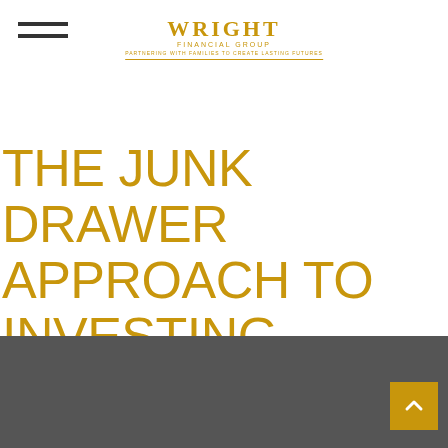Wright Financial Group
THE JUNK DRAWER APPROACH TO INVESTING
It's easy to let investments accumulate like old receipts in a junk drawer.